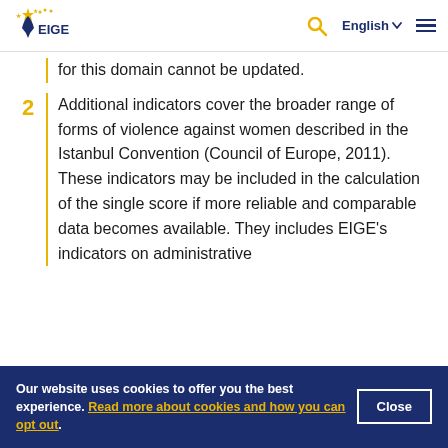EIGE — European Institute for Gender Equality
for this domain cannot be updated.
2 Additional indicators cover the broader range of forms of violence against women described in the Istanbul Convention (Council of Europe, 2011). These indicators may be included in the calculation of the single score if more reliable and comparable data becomes available. They includes EIGE's indicators on administrative
Our website uses cookies to offer you the best experience. Read more about cookies and how you can opt out.